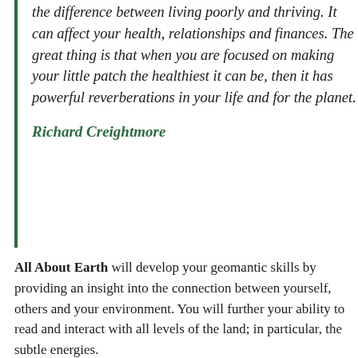the difference between living poorly and thriving. It can affect your health, relationships and finances. The great thing is that when you are focused on making your little patch the healthiest it can be, then it has powerful reverberations in your life and for the planet.
Richard Creightmore
All About Earth will develop your geomantic skills by providing an insight into the connection between yourself, others and your environment. You will further your ability to read and interact with all levels of the land; in particular, the subtle energies.